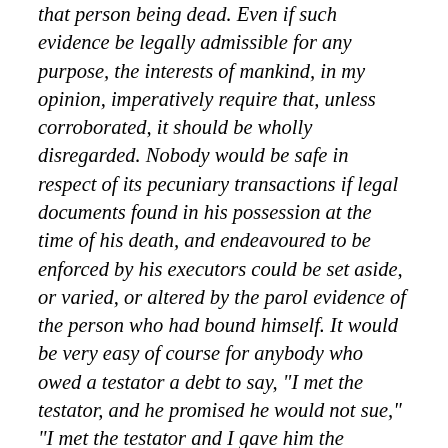that person being dead. Even if such evidence be legally admissible for any purpose, the interests of mankind, in my opinion, imperatively require that, unless corroborated, it should be wholly disregarded. Nobody would be safe in respect of its pecuniary transactions if legal documents found in his possession at the time of his death, and endeavoured to be enforced by his executors could be set aside, or varied, or altered by the parol evidence of the person who had bound himself. It would be very easy of course for anybody who owed a testator a debt to say, "I met the testator, and he promised he would not sue," "I met the testator and I gave him the money", "I met the testator, and in the consideration of something he agreed to relieve me". The interests of justice and the interests of mankind require that such evidence should be wholly disregarded.